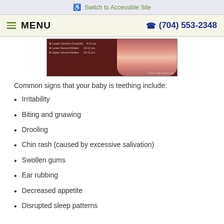♿ Switch to Accessible Site
≡ MENU   ☎ (704) 553-2348
[Figure (illustration): Dental chart image showing lower canines, lower second molars, and upper second molars with age ranges, alongside an illustration of teeth/gums. Copyright 2011 Dear Doctor, Inc.]
Common signs that your baby is teething include:
Irritability
Biting and gnawing
Drooling
Chin rash (caused by excessive salivation)
Swollen gums
Ear rubbing
Decreased appetite
Disrupted sleep patterns